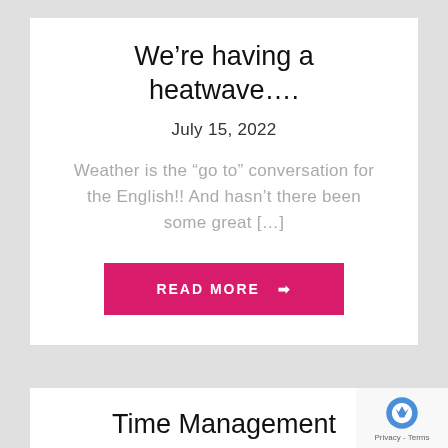We’re having a heatwave.…
July 15, 2022
Weather is the “go to” conversation for the English!! And hasn’t there been some great [...]
READ MORE →
Time Management
July 13, 2022